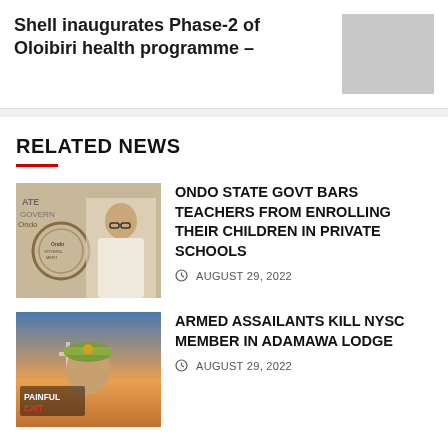Shell inaugurates Phase-2 of Oloibiri health programme –
[Figure (photo): Grey placeholder image for article thumbnail]
RELATED NEWS
[Figure (photo): Photo of a man in white attire speaking at an Ondo State Government event, with a seal/logo visible in the background]
ONDO STATE GOVT BARS TEACHERS FROM ENROLLING THEIR CHILDREN IN PRIVATE SCHOOLS
AUGUST 29, 2022
[Figure (photo): Photo of a young man in NYSC uniform with text PAINFUL EXIT visible, against a dramatic sky background]
ARMED ASSAILANTS KILL NYSC MEMBER IN ADAMAWA LODGE
AUGUST 29, 2022